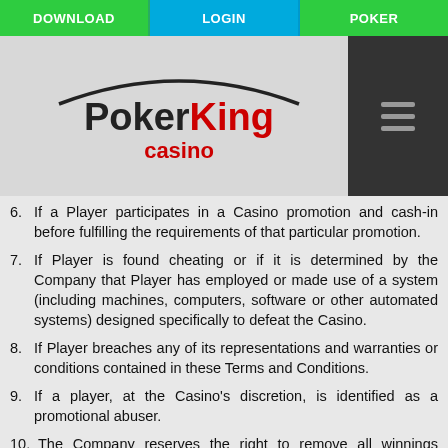DOWNLOAD | LOGIN | POKER
[Figure (logo): PokerKing Casino logo with arc graphic and hamburger menu icon]
6. If a Player participates in a Casino promotion and cash-in before fulfilling the requirements of that particular promotion.
7. If Player is found cheating or if it is determined by the Company that Player has employed or made use of a system (including machines, computers, software or other automated systems) designed specifically to defeat the Casino.
8. If Player breaches any of its representations and warranties or conditions contained in these Terms and Conditions.
9. If a player, at the Casino's discretion, is identified as a promotional abuser.
10. The Company reserves the right to remove all winnings exceeding $50, where there has been no cash deposit.